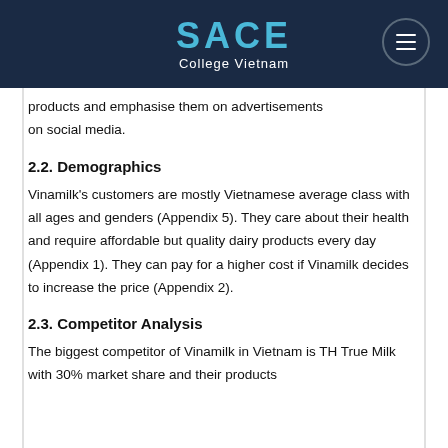SACE College Vietnam
products and emphasise them on advertisements on social media.
2.2. Demographics
Vinamilk's customers are mostly Vietnamese average class with all ages and genders (Appendix 5). They care about their health and require affordable but quality dairy products every day (Appendix 1). They can pay for a higher cost if Vinamilk decides to increase the price (Appendix 2).
2.3. Competitor Analysis
The biggest competitor of Vinamilk in Vietnam is TH True Milk with 30% market share and their products